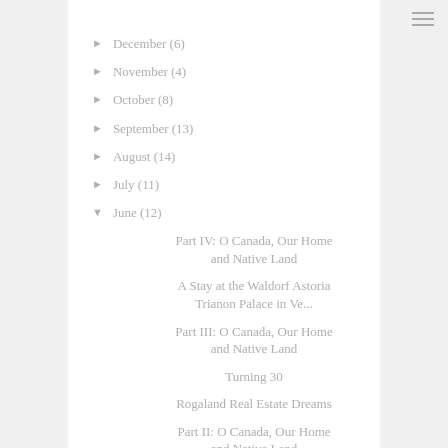► December (6)
► November (4)
► October (8)
► September (13)
► August (14)
► July (11)
▼ June (12)
Part IV: O Canada, Our Home and Native Land
A Stay at the Waldorf Astoria Trianon Palace in Ve...
Part III: O Canada, Our Home and Native Land
Turning 30
Rogaland Real Estate Dreams
Part II: O Canada, Our Home and Native Land
Copenhagen...